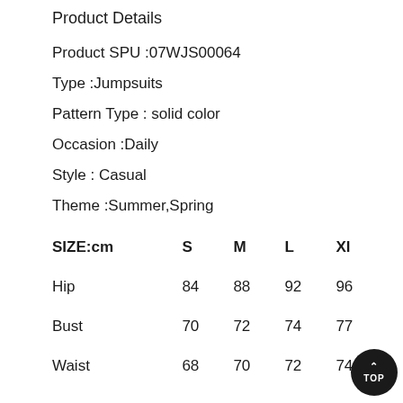Product Details
Product SPU :07WJS00064
Type :Jumpsuits
Pattern Type : solid color
Occasion :Daily
Style : Casual
Theme :Summer,Spring
| SIZE:cm | S | M | L | XL |
| --- | --- | --- | --- | --- |
| Hip | 84 | 88 | 92 | 96 |
| Bust | 70 | 72 | 74 | 77 |
| Waist | 68 | 70 | 72 | 74 |